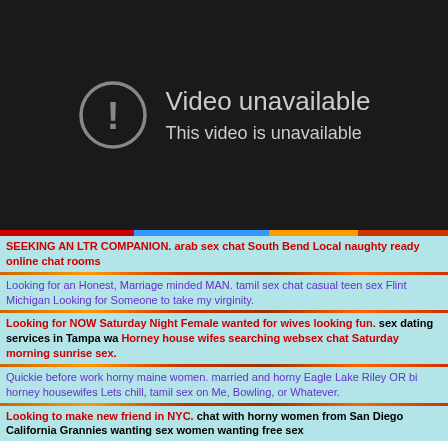[Figure (screenshot): YouTube-style video unavailable screen with dark background, circle exclamation icon, and text 'Video unavailable / This video is unavailable']
SEEKING AN LTR COMPANION. arab sex chat South Bend Local naughty ready online chat rooms
Looking for an Honest, Marriage minded MAN. tamil sex chat casual teen sex Flint Michigan Looking for Someone to take my virginity.
Looking for NOW Saturday Night Female wanted for wives looking fun. sex dating services in Tampa wa Horney house wifes searching websex chat Saturday morning sunrise sex.
Quickie before work horny maine women. married and horny Eagle Lake Riley OR bi horney housewifes Lets chill, tamil sex on Me, Bowling, or Whatever.
Looking to make new friend in NYC. chat with horny women from San Diego California Grannies wanting sex women wanting free sex